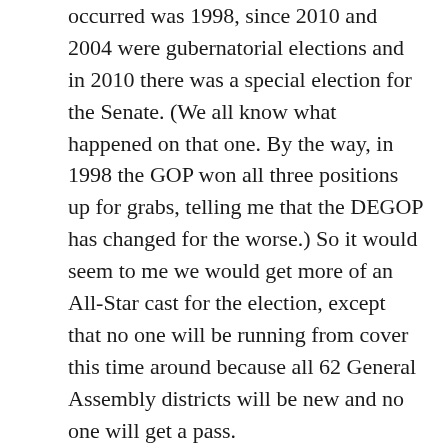occurred was 1998, since 2010 and 2004 were gubernatorial elections and in 2010 there was a special election for the Senate. (We all know what happened on that one. By the way, in 1998 the GOP won all three positions up for grabs, telling me that the DEGOP has changed for the worse.) So it would seem to me we would get more of an All-Star cast for the election, except that no one will be running from cover this time around because all 62 General Assembly districts will be new and no one will get a pass.
No disrespect to Lee Murphy, but here’s hoping he’s not the only one eyeing the seat. The Republicans have some good candidates (like the aforementioned Donyale Hall) who I think